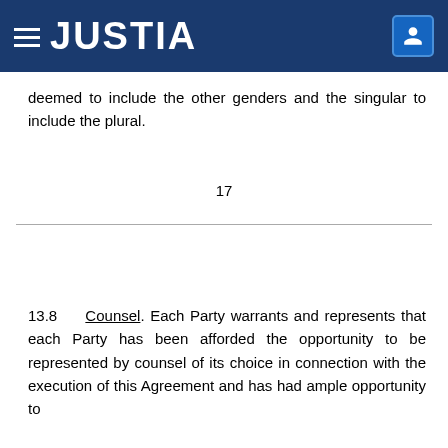JUSTIA
deemed to include the other genders and the singular to include the plural.
17
13.8    Counsel. Each Party warrants and represents that each Party has been afforded the opportunity to be represented by counsel of its choice in connection with the execution of this Agreement and has had ample opportunity to